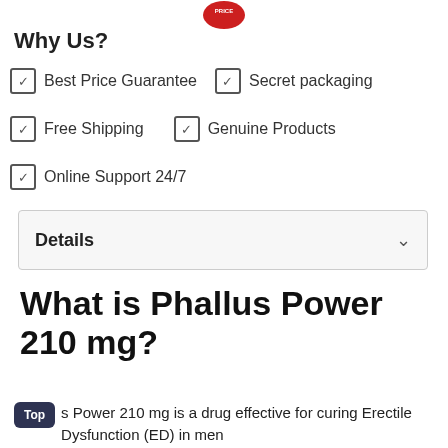[Figure (illustration): Red circular badge with text PRICE at top center]
Why Us?
✓ Best Price Guarantee  ✓ Secret packaging
✓ Free Shipping  ✓ Genuine Products
✓ Online Support 24/7
Details
What is Phallus Power 210 mg?
Phallus Power 210 mg is a drug effective for curing Erectile Dysfunction (ED) in men